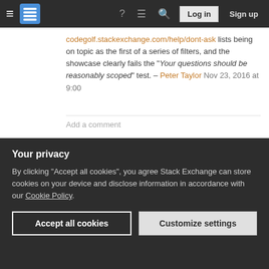Stack Exchange navigation bar with hamburger menu, logo, help, chat, search icons, Log in and Sign up buttons
codegolf.stackexchange.com/help/dont-ask lists being on topic as the first of a series of filters, and the showcase clearly fails the "Your questions should be reasonably scoped" test. – Peter Taylor Nov 23, 2016 at 9:00
Add a comment
6 Answers
Sorted by: Highest score (default)
Let's make an exception
Your privacy
By clicking "Accept all cookies", you agree Stack Exchange can store cookies on your device and disclose information in accordance with our Cookie Policy.
compromise.